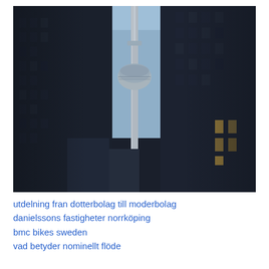[Figure (photo): Low-angle photograph of the CN Tower in Toronto, seen between two dark glass skyscrapers with a hazy blue sky in the background.]
utdelning fran dotterbolag till moderbolag
danielssons fastigheter norrköping
bmc bikes sweden
vad betyder nominellt flöde